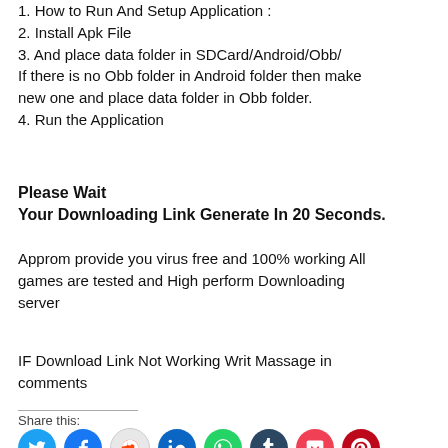1. How to Run And Setup Application :
2. Install Apk File
3. And place data folder in SDCard/Android/Obb/ If there is no Obb folder in Android folder then make new one and place data folder in Obb folder.
4. Run the Application
Please Wait
Your Downloading Link Generate In 20 Seconds.
Approm provide you virus free and 100% working All games are tested and High perform Downloading server
IF Download Link Not Working Writ Massage in comments
Share this: